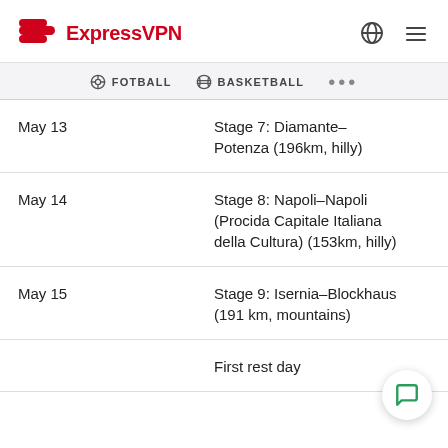ExpressVPN
FOTBALL   BASKETBALL   ...
| Date | Stage |
| --- | --- |
| May 13 | Stage 7: Diamante–Potenza (196km, hilly) |
| May 14 | Stage 8: Napoli–Napoli (Procida Capitale Italiana della Cultura) (153km, hilly) |
| May 15 | Stage 9: Isernia–Blockhaus (191 km, mountains) |
|  | First rest day |